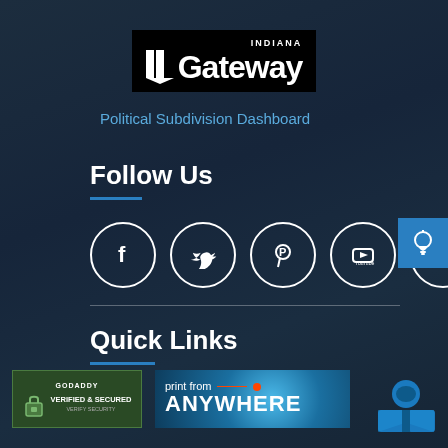[Figure (logo): Indiana Gateway logo — black box with INDIANA text and Gateway wordmark with map icon]
Political Subdivision Dashboard
Follow Us
[Figure (infographic): Five social media icons in white circles: Facebook, Twitter, Pinterest, YouTube, Instagram]
Quick Links
[Figure (logo): GoDaddy Verified & Secured badge]
[Figure (logo): Print from ANYWHERE banner]
[Figure (illustration): Blue reading/book icon]
[Figure (illustration): Light bulb icon button on right side]